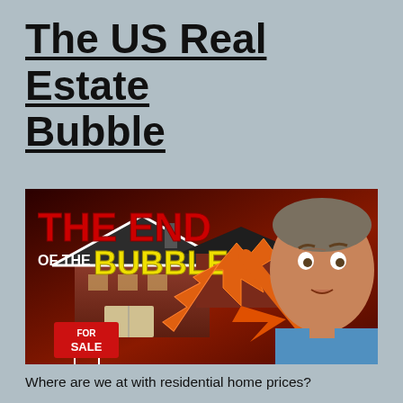The US Real Estate Bubble
[Figure (illustration): Thumbnail image with dark red/orange background showing a brick house with a FOR SALE sign, a large red text reading 'THE END OF THE BUBBLE?' in red and yellow, a downward orange arrow with lightning bolt, and a surprised middle-aged man's face on the right side.]
Where are we at with residential home prices?